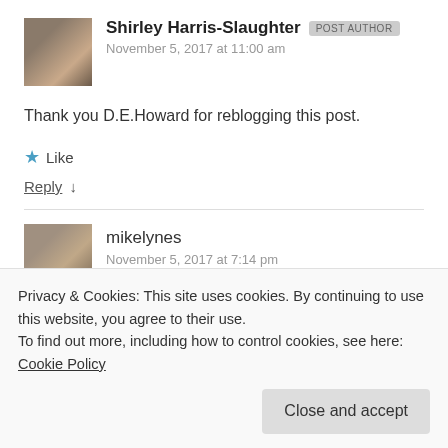Shirley Harris-Slaughter [POST AUTHOR] November 5, 2017 at 11:00 am
Thank you D.E.Howard for reblogging this post.
★ Like
Reply ↓
mikelynes November 5, 2017 at 7:14 pm
Privacy & Cookies: This site uses cookies. By continuing to use this website, you agree to their use.
To find out more, including how to control cookies, see here: Cookie Policy
Close and accept